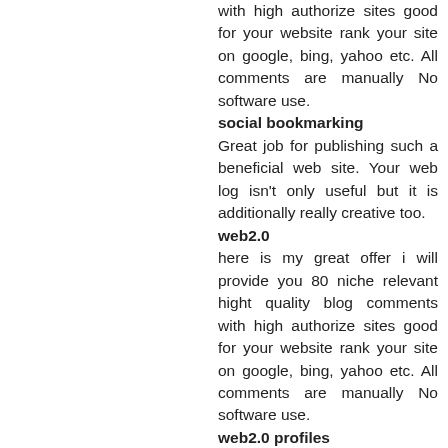with high authorize sites good for your website rank your site on google, bing, yahoo etc. All comments are manually No software use.
social bookmarking
Great job for publishing such a beneficial web site. Your web log isn't only useful but it is additionally really creative too.
web2.0
here is my great offer i will provide you 80 niche relevant hight quality blog comments with high authorize sites good for your website rank your site on google, bing, yahoo etc. All comments are manually No software use.
web2.0 profiles
xtremely pleasant article, I appreciated perusing your post, exceptionally decent share, I need to twit this to my adherents. Much appreciated!.
Social Media Services
We are truly thankful for your blog entry. You will discover a great deal of methodologies in the wake of going to your post. I was precisely scanning for. A debt of gratitude is